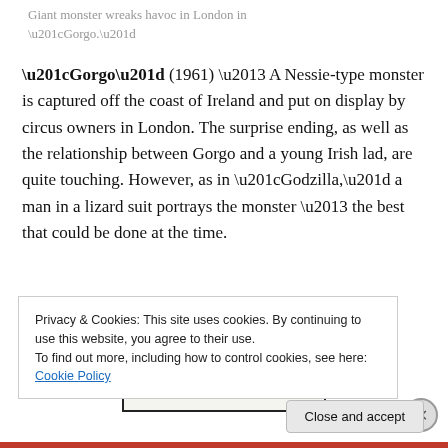Giant monster wreaks havoc in London in “Gorgo.”
“Gorgo” (1961) – A Nessie-type monster is captured off the coast of Ireland and put on display by circus owners in London. The surprise ending, as well as the relationship between Gorgo and a young Irish lad, are quite touching. However, as in “Godzilla,” a man in a lizard suit portrays the monster – the best that could be done at the time.
[Figure (photo): Movie poster snippet showing red text: 'The West's Deadliest Gun-Fighter! The World's Most Diabolical Killer!' in small-caps red font on light background with black rule above.]
Privacy & Cookies: This site uses cookies. By continuing to use this website, you agree to their use.
To find out more, including how to control cookies, see here: Cookie Policy
Close and accept